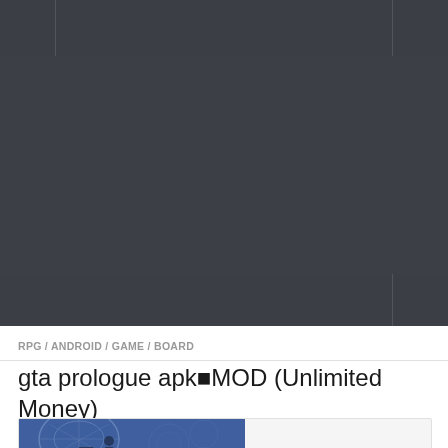[Figure (screenshot): Dark gray navigation header bar with three sections separated by vertical dividers]
[Figure (screenshot): Large dark gray banner/advertisement area]
[Figure (screenshot): Dark gray secondary navigation bar with right sidebar divider]
RPG / ANDROID / GAME / BOARD
gta prologue apk■MOD (Unlimited Money) v1.0.3■
[Figure (screenshot): Game thumbnail image showing a blue-tinted scene with a character holding a weapon]